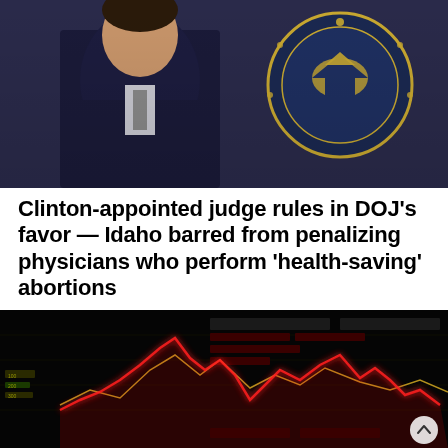[Figure (photo): A person in a dark suit standing in front of an official government seal/emblem on a wall, blue background.]
Clinton-appointed judge rules in DOJ’s favor — Idaho barred from penalizing physicians who perform ‘health-saving’ abortions
22 minutes ago
[Figure (photo): A close-up of a financial trading screen displaying red and yellow/gold line charts on a black background, showing market data.]